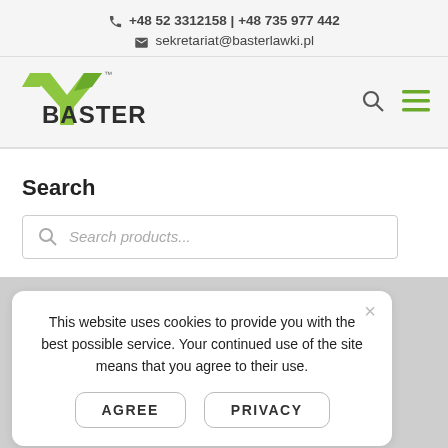+48 52 3312158 | +48 735 977 442
sekretariat@basterlawki.pl
[Figure (logo): Baster logo with green arrow/Y shape and dark text 'BASTER']
Search
Search products...
This website uses cookies to provide you with the best possible service. Your continued use of the site means that you agree to their use.
AGREE   PRIVACY
Gratings